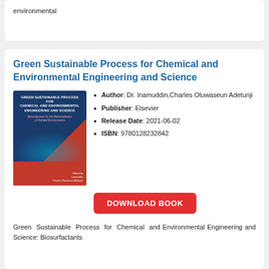environmental
Green Sustainable Process for Chemical and Environmental Engineering and Science
[Figure (illustration): Book cover of Green Sustainable Process for Chemical and Environmental Engineering and Science, dark blue and red cover with DNA helix imagery]
Author : Dr. Inamuddin,Charles Oluwaseun Adetunji
Publisher : Elsevier
Release Date : 2021-06-02
ISBN : 9780128232842
DOWNLOAD BOOK
Green Sustainable Process for Chemical and Environmental Engineering and Science: Biosurfactants